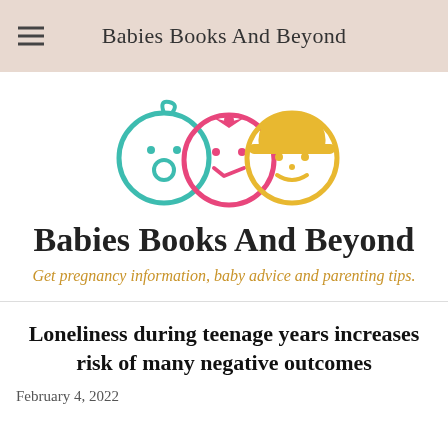Babies Books And Beyond
[Figure (logo): Three cartoon baby faces in teal, pink, and yellow/gold colors, overlapping circles forming a logo]
Babies Books And Beyond
Get pregnancy information, baby advice and parenting tips.
Loneliness during teenage years increases risk of many negative outcomes
February 4, 2022